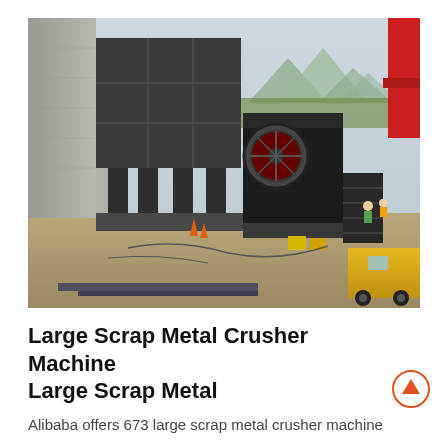[Figure (photo): Outdoor industrial site showing a large scrap metal crusher machine installation. A dark gray modular metal structure with a flywheel crusher is mounted on a concrete base next to a stone retaining wall. Mountains and cloudy sky are visible in the background. A yellow truck and crane are visible on the right edge.]
Large Scrap Metal Crusher Machine Large Scrap Metal
Alibaba offers 673 large scrap metal crusher machine products About 35 of these are crusher 25 are plastic